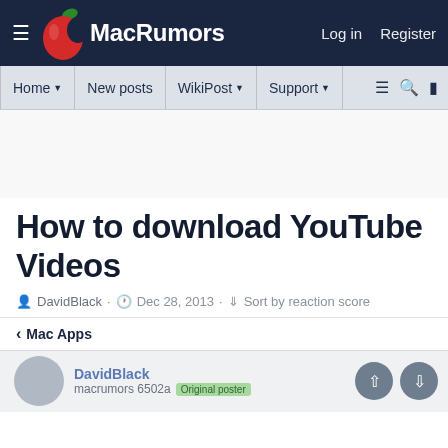MacRumors — Log in  Register
Home  New posts  WikiPost  Support
How to download YouTube Videos
DavidBlack · Dec 28, 2013 · Sort by reaction score
< Mac Apps
DavidBlack
macrumors 6502a  Original poster